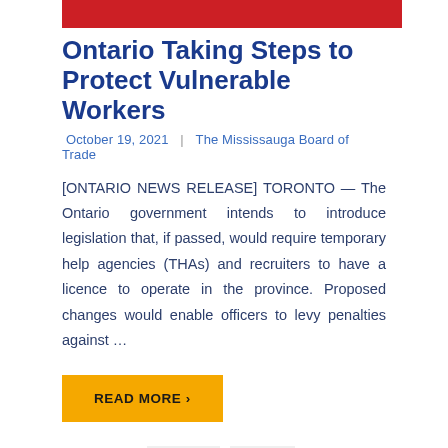[Figure (other): Red decorative bar at top of page]
Ontario Taking Steps to Protect Vulnerable Workers
October 19, 2021 | The Mississauga Board of Trade
[ONTARIO NEWS RELEASE] TORONTO — The Ontario government intends to introduce legislation that, if passed, would require temporary help agencies (THAs) and recruiters to have a licence to operate in the province. Proposed changes would enable officers to levy penalties against …
READ MORE ›
Tagged with: Business , Canada , City of Mississauga , Content Marketing , covid19 , economy , MBOT Ontario , Mississauga